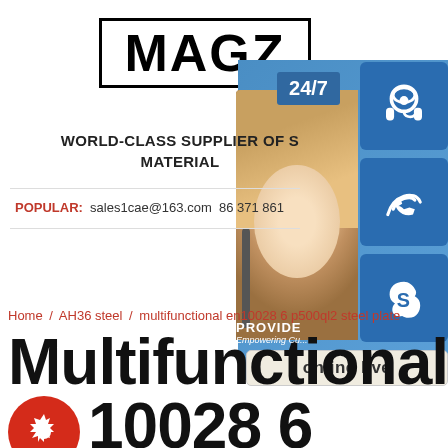[Figure (logo): MAGZ logo in bold black text inside a rectangular border]
[Figure (infographic): Right panel with 24/7 contact banner, person with headset, blue icon squares for headset/phone/Skype, PROVIDE Empowering Customers text, and online live button]
WORLD-CLASS SUPPLIER OF S MATERIAL
POPULAR: sales1cae@163.com 86 371 861
Home / AH36 steel / multifunctional en10028 6 p500ql2 steel plate
Multifunctional En10028 6 P500ql2 Steel